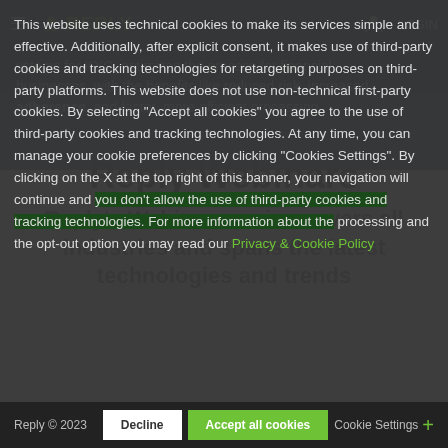REPLY (logo with navigation hamburger and LOGIN)
systems for KYC, optimizes the process for financial businesses, with the benefits like reduced risk, increased adherence, and faster, more efficient processing.
Reply Webinars
Reply's Webinars series covers all industries and spans the latest technologies and trends
This website uses technical cookies to make its services simple and effective. Additionally, after explicit consent, it makes use of third-party cookies and tracking technologies for retargeting purposes on third-party platforms. This website does not use non-technical first-party cookies. By selecting "Accept all cookies" you agree to the use of third-party cookies and tracking technologies. At any time, you can manage your cookie preferences by clicking "Cookies Settings". By clicking on the X at the top right of this banner, your navigation will continue and you don't allow the use of third-party cookies and tracking technologies. For more information about the processing and the opt-out option you may read our Privacy & Cookie Policy
Reply © 2023 | [Decline] [Accept all cookies] | Cookie Settings +